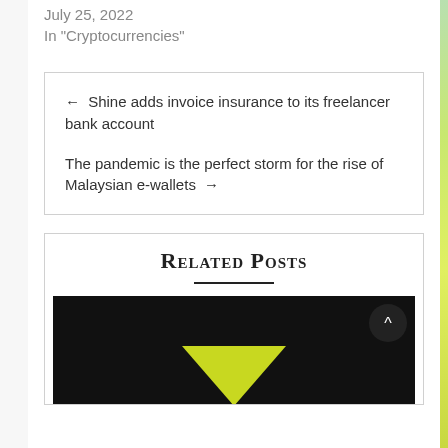July 25, 2022
In "Cryptocurrencies"
← Shine adds invoice insurance to its freelancer bank account
The pandemic is the perfect storm for the rise of Malaysian e-wallets →
Related Posts
[Figure (photo): Dark background image with a yellow/green triangle shape, related posts thumbnail]